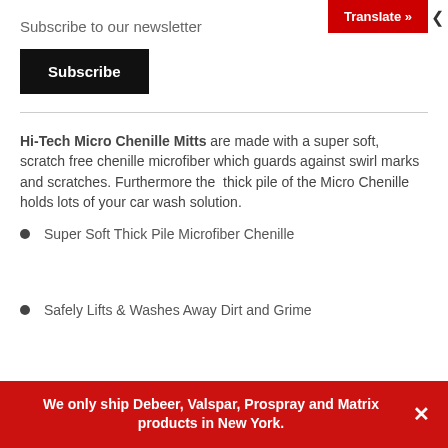Translate »
Subscribe to our newsletter
Subscribe
Hi-Tech Micro Chenille Mitts are made with a super soft, scratch free chenille microfiber which guards against swirl marks and scratches. Furthermore the thick pile of the Micro Chenille holds lots of your car wash solution.
Super Soft Thick Pile Microfiber Chenille
Safely Lifts & Washes Away Dirt and Grime
We only ship Debeer, Valspar, Prospray and Matrix products in New York.